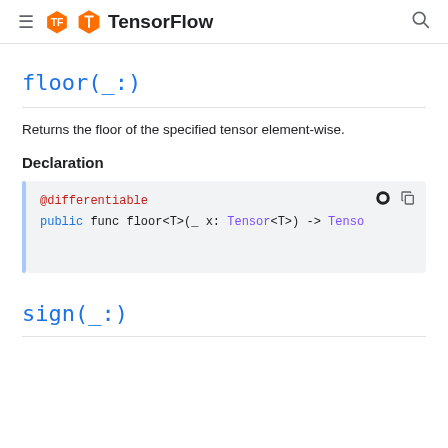TensorFlow
floor(_:)
Returns the floor of the specified tensor element-wise.
Declaration
@differentiable
public func floor<T>(_ x: Tensor<T>) -> Tensor
sign(_:)